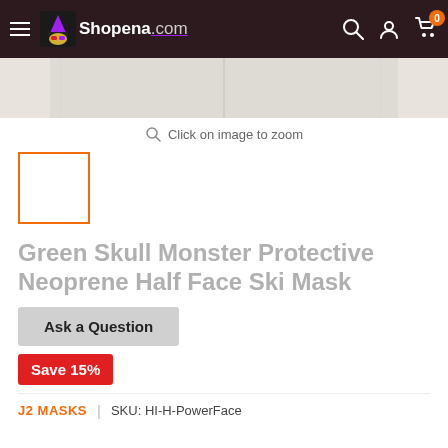Shopena.com — navigation bar with hamburger menu, logo, search, account, and cart icons
[Figure (photo): Product image of a white/cream neoprene half face ski mask, partially visible at top]
Click on image to zoom
[Figure (photo): Small thumbnail preview box with orange border, white background]
Green Skull Monster Protective Neoprene Half Face Ski Mask
Ask a Question
Save 15%
J2 MASKS | SKU: HI-H-PowerFace